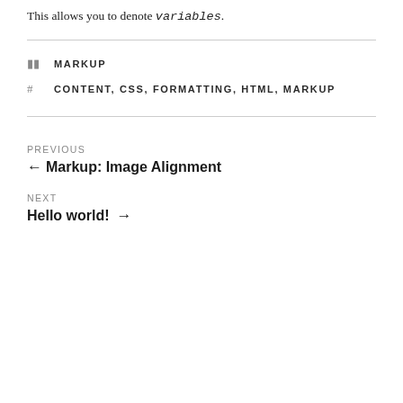This allows you to denote variables.
MARKUP
CONTENT, CSS, FORMATTING, HTML, MARKUP
PREVIOUS
← Markup: Image Alignment
NEXT
Hello world! →